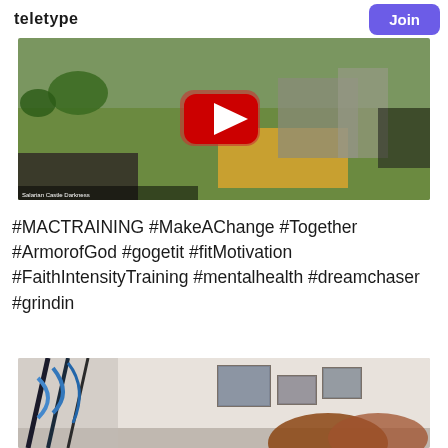teletype  Join
[Figure (screenshot): Video thumbnail showing a strategy game (Age of Empires style) with a YouTube play button overlay. Scene shows a medieval village with green fields, castle structures, and a golden wheat area.]
#MACTRAINING #MakeAChange #Together #ArmorofGod #gogetit #fitMotivation #FaithIntensityTraining #mentalhealth #dreamchaser #grindin
[Figure (photo): Partial photo of a woman with reddish-brown hair in a room with exercise equipment (resistance bands visible) and framed pictures on the wall.]